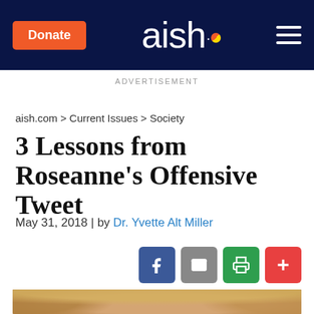Donate | aish. | [menu]
ADVERTISEMENT
aish.com > Current Issues > Society
3 Lessons from Roseanne's Offensive Tweet
May 31, 2018 | by Dr. Yvette Alt Miller
[Figure (photo): Portrait photo of Roseanne Barr, a blonde woman, cropped from shoulders up]
[Figure (infographic): Social sharing buttons: Facebook (blue), Email (gray), Print (green), Plus/Add (red)]